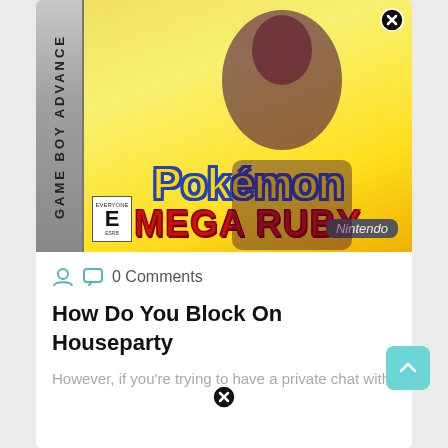[Figure (photo): Game Boy Advance Pokemon Mega Ruby cartridge cover art showing a dark creature with the Pokemon logo and 'Mega Ruby' text, Nintendo branding, ESRB E rating, with a close (X) button overlay in the top right corner]
0 Comments
How Do You Block On Houseparty
However, if you're trying to have a private chat with. If you need to report...
[Figure (other): Bottom card with a close (X) circle button at the top center]